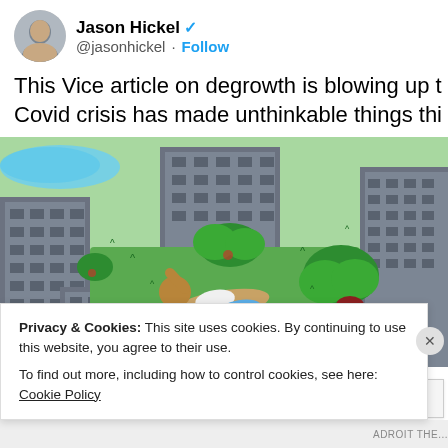Jason Hickel @jasonhickel · Follow
This Vice article on degrowth is blowing up t... Covid crisis has made unthinkable things thi...
[Figure (illustration): Isometric illustration showing people relaxing in green urban spaces between grey apartment buildings. One person lying on grass, another reading under a tree.]
Privacy & Cookies: This site uses cookies. By continuing to use this website, you agree to their use. To find out more, including how to control cookies, see here: Cookie Policy
Close and accept